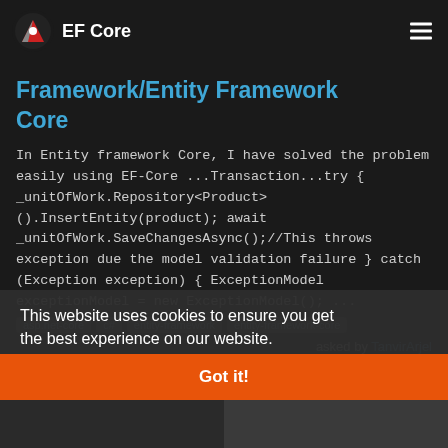EF Core
Framework/Entity Framework Core
In Entity framework Core, I have solved the problem easily using EF-Core ...Transaction...try { _unitOfWork.Repository<Product>().InsertEntity(product); await _unitOfWork.SaveChangesAsync();//This throws exception due the model validation failure } catch (Exception exception) { ExceptionModel exceptionModel = new ExceptionModel(); ...
asp.net-core
c#
entity-framework
entity-framework-core
asked by TanvirArjel
This website uses cookies to ensure you get the best experience on our website. Learn more
Got it!